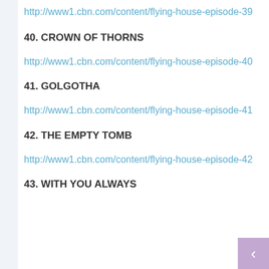http://www1.cbn.com/content/flying-house-episode-39
40. CROWN OF THORNS
http://www1.cbn.com/content/flying-house-episode-40
41. GOLGOTHA
http://www1.cbn.com/content/flying-house-episode-41
42. THE EMPTY TOMB
http://www1.cbn.com/content/flying-house-episode-42
43. WITH YOU ALWAYS